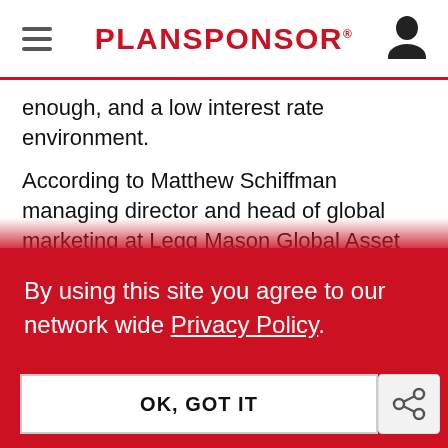PLANSPONSOR
enough, and a low interest rate environment.

According to Matthew Schiffman managing director and head of global marketing at Legg Mason Global Asset Management, recent events such as the financial crisis have made current investors more aware of how retirement savings
By using this site you agree to our network wide Privacy Policy.
OK, GOT IT